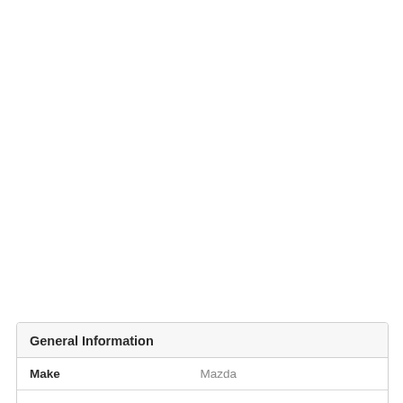| General Information |  |
| --- | --- |
| Make | Mazda |
|  |  |